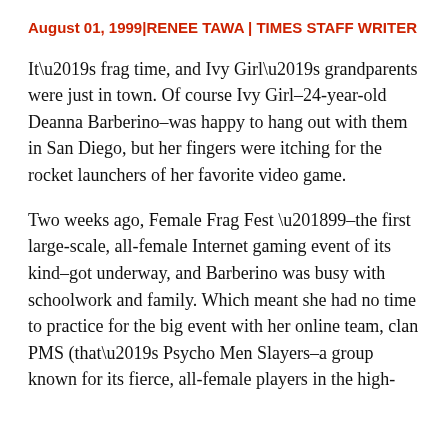August 01, 1999|RENEE TAWA | TIMES STAFF WRITER
It’s frag time, and Ivy Girl’s grandparents were just in town. Of course Ivy Girl–24-year-old Deanna Barberino–was happy to hang out with them in San Diego, but her fingers were itching for the rocket launchers of her favorite video game.
Two weeks ago, Female Frag Fest ’99–the first large-scale, all-female Internet gaming event of its kind–got underway, and Barberino was busy with schoolwork and family. Which meant she had no time to practice for the big event with her online team, clan PMS (that’s Psycho Men Slayers–a group known for its fierce, all-female players in the high-